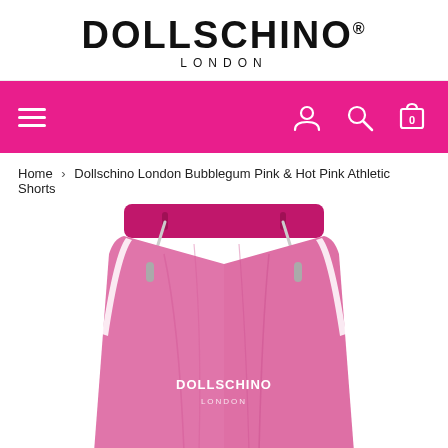DOLLSCHINO® LONDON
[Figure (screenshot): Hot pink navigation bar with hamburger menu on left, and user/search/cart icons on right]
Home > Dollschino London Bubblegum Pink & Hot Pink Athletic Shorts
[Figure (photo): Bubblegum pink and hot pink athletic shorts with white drawstring and side stripe, DOLLSCHINO branding on front, hot pink waistband]